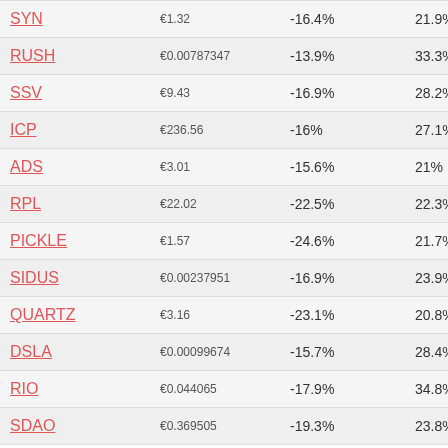| SYN | €1.32 | -16.4% | 21.9% |
| RUSH | €0.00787347 | -13.9% | 33.3% |
| SSV | €9.43 | -16.9% | 28.2% |
| ICP | €236.56 | -16% | 27.1% |
| ADS | €3.01 | -15.6% | 21% |
| RPL | €22.02 | -22.5% | 22.3% |
| PICKLE | €1.57 | -24.6% | 21.7% |
| SIDUS | €0.00237951 | -16.9% | 23.9% |
| QUARTZ | €3.16 | -23.1% | 20.8% |
| DSLA | €0.00099674 | -15.7% | 28.4% |
| RIO | €0.044065 | -17.9% | 34.8% |
| SDAO | €0.369505 | -19.3% | 23.8% |